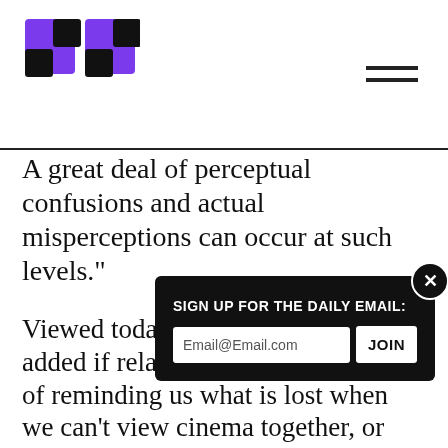[Figure (logo): Publication logo: stylized double-quote mark in black and purple, with hamburger menu icon on the right]
A great deal of perceptual confusions and actual misperceptions can occur at such levels."
Viewed today, Sharits’s work has an added if relatively prosaic dimension of reminding us what is lost when we can’t view cinema together, or when it becomes increasingly acceptable to [partially obscured] film viewing with its digita[partially obscured] into a Paul Sh[partially obscured] possible to m[partially obscured] phenomenology of perception is at play
[Figure (screenshot): Email signup popup overlay: dark background with 'SIGN UP FOR THE DAILY EMAIL:' label, email input field showing 'Email@Email.com', JOIN button, and X close button]